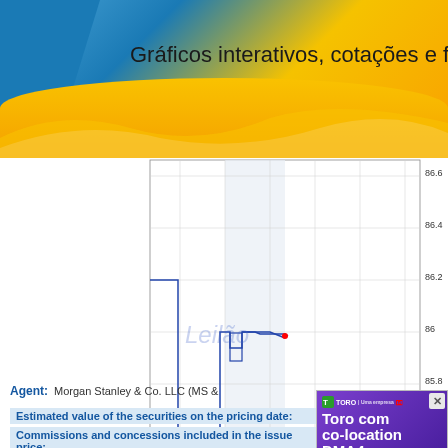Gráficos interativos, cotações e ferram
[Figure (continuous-plot): Intraday price chart showing a step-line from around 0600 to 1600. Y-axis values from 85.6 to 86.6. X-axis shows times: 0600, 0800, 1000, 1200, 1400, 1600. The price drops sharply near open (0600) then recovers. A shaded region around 0800-1000 is labeled 'Leilão'. A small red dot appears near 1000 at ~86 level. Copyright: (c) www.advfn.com]
Agent:
Morgan Stanley & Co. LLC (MS &
Estimated value of the securities on the pricing date:
Commissions and concessions included in the issue price:
(1)   The
securities will be
in fee-based adv
[Figure (advertisement): Toro com co-location DMA4 advertisement with purple background, Toro | Uma empresa Santander logo, and a person at a computer.]